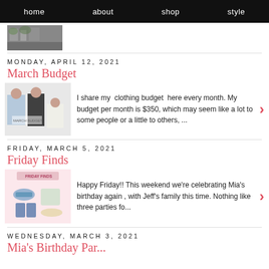home   about   shop   style
[Figure (photo): Small thumbnail photo of a building with trees]
MONDAY, APRIL 12, 2021
March Budget
[Figure (photo): Thumbnail showing women in clothing items for March Budget post]
I share my  clothing budget  here every month. My budget per month is $350, which may seem like a lot to some people or a little to others, ...
FRIDAY, MARCH 5, 2021
Friday Finds
[Figure (photo): Friday Finds thumbnail with clothing accessories collage]
Happy Friday!! This weekend we're celebrating Mia's birthday again , with Jeff's family this time. Nothing like three parties fo...
WEDNESDAY, MARCH 3, 2021
Mia's Birthday Party